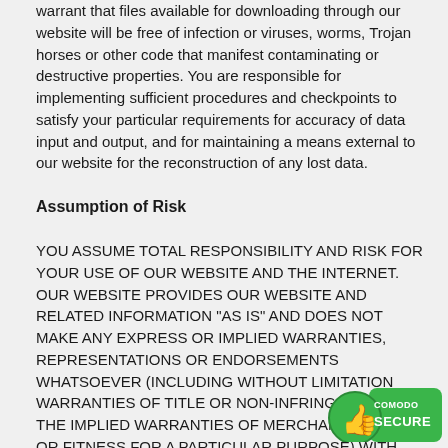warrant that files available for downloading through our website will be free of infection or viruses, worms, Trojan horses or other code that manifest contaminating or destructive properties. You are responsible for implementing sufficient procedures and checkpoints to satisfy your particular requirements for accuracy of data input and output, and for maintaining a means external to our website for the reconstruction of any lost data.
Assumption of Risk
YOU ASSUME TOTAL RESPONSIBILITY AND RISK FOR YOUR USE OF OUR WEBSITE AND THE INTERNET. OUR WEBSITE PROVIDES OUR WEBSITE AND RELATED INFORMATION "AS IS" AND DOES NOT MAKE ANY EXPRESS OR IMPLIED WARRANTIES, REPRESENTATIONS OR ENDORSEMENTS WHATSOEVER (INCLUDING WITHOUT LIMITATION WARRANTIES OF TITLE OR NON-INFRINGEMENT, OR THE IMPLIED WARRANTIES OF MERCHANTABILITY OR FITNESS FOR A PARTICULAR PURPOSE) WITH REGARD TO THE PRODUCT OR SERVICE, ANY MERCHANDISE INFO, SERVICE PROVIDED THROUGH THE SERVICE OR C...
[Figure (logo): Comodo Secure badge - green thumbs up icon with 'COMODO SECURE' text on green background]